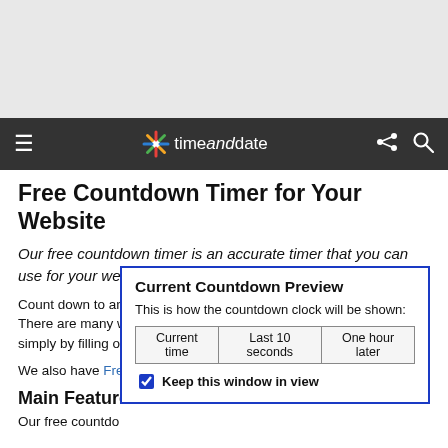[Figure (screenshot): Gray advertisement placeholder area at top of page]
≡  timeanddate  ⋮ 🔍
Free Countdown Timer for Your Website
Our free countdown timer is an accurate timer that you can use for your website or blog.
Count down to any special event, such as a birthday or anniversary. There are many ways for you personalize your own countdown timer, simply by filling out the gray form below on this page.
We also have Fre…
Main Feature…
Our free countdo…
Here are some re…
[Figure (screenshot): Current Countdown Preview popup with buttons: Current time, Last 10 seconds, One hour later, and Keep this window in view checkbox]